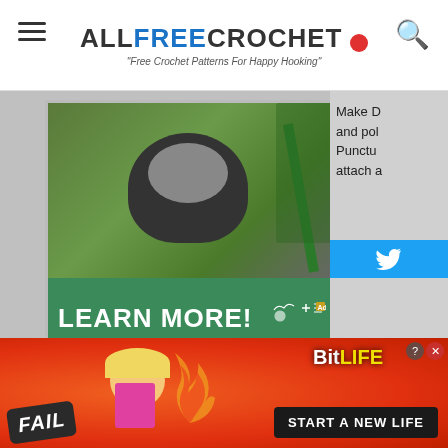ALLFREE CROCHET — "Free Crochet Patterns For Happy Hooking"
[Figure (screenshot): Advertisement banner with a stuffed panda toy on a green background and 'LEARN MORE!' button in teal, with ad disclosure icons]
Make D and pol Punctu attach a
[Figure (screenshot): Twitter share button in blue]
[Figure (screenshot): Overlapping thumbnails showing a woman with natural hair, a crafts organization shelf, and a video player with a woman presenter and play button]
Re
[Figure (screenshot): Crochet animal hat (owl or cat) with colorful button eyes on a background of yarn]
[Figure (advertisement): BitLife game advertisement: orange/red fire background with cartoon fail emoji, flame emoji, and 'FAIL' badge on left; BitLife logo and 'START A NEW LIFE' button on right]